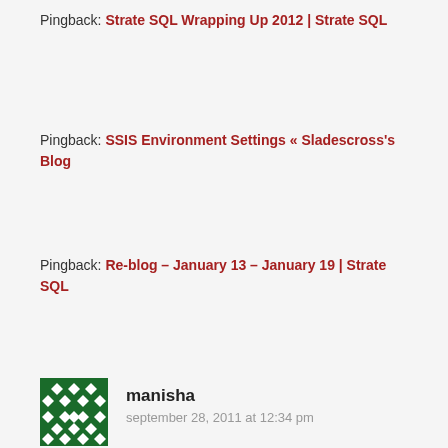Pingback: Strate SQL Wrapping Up 2012 | Strate SQL
Pingback: SSIS Environment Settings « Sladescross's Blog
Pingback: Re-blog – January 13 – January 19 | Strate SQL
manisha
september 28, 2011 at 12:34 pm